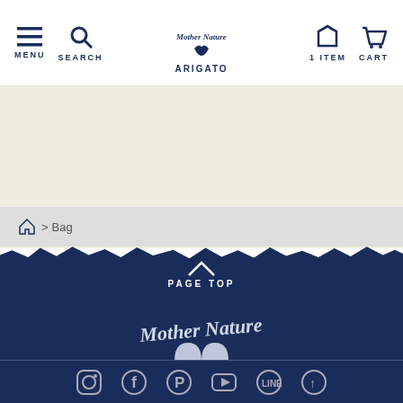MENU SEARCH | Mother Nature Arigato | 1 ITEM CART
> Bag
[Figure (logo): Mother Nature Arigato logo with heart - footer version, white on dark blue, with text LOVE EARTH & NATURE]
PAGE TOP
Social media icons: Instagram, Facebook, Pinterest, YouTube, LINE, other